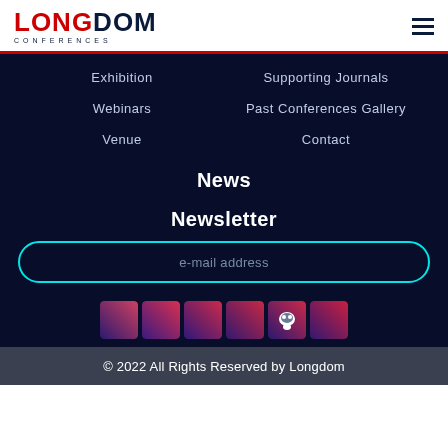LONGDOM CONFERENCES
Exhibition
Supporting Journals
Webinars
Past Conferences Gallery
Venue
Contact
News
Newsletter
e-mail address
[Figure (other): Social media icon buttons: 6 colored square icons with gradient backgrounds (purple/pink/red), one with a blog icon]
© 2022 All Rights Reserved by Longdom